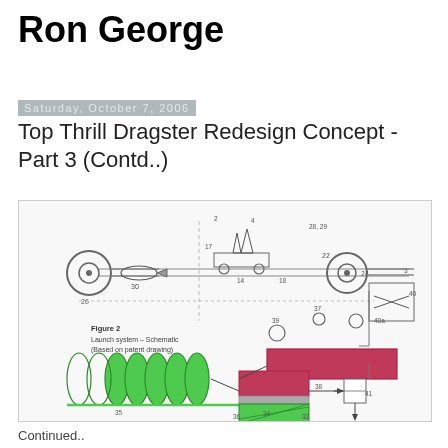Ron George
Saturday, October 7, 2006
Top Thrill Dragster Redesign Concept - Part 3 (Contd..)
[Figure (schematic): Figure 2: Launch system schematic based on patent drawing, showing rollers, launch vehicle, hydraulic/pneumatic components, accumulators (green ellipses), main cylinder (pink/red rectangle), control valve, and numbered part labels including 2, 3, 4, 14, 17, 18, 20, 22, 24, 26, 28, 29, 30, 32, 34, 35, 36, 37, 38, 39, 40, 40a, 41.]
Continued..